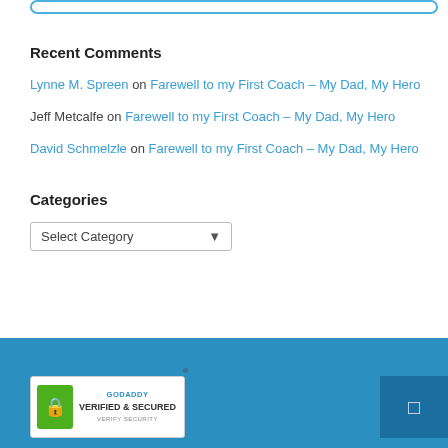Recent Comments
Lynne M. Spreen on Farewell to my First Coach – My Dad, My Hero
Jeff Metcalfe on Farewell to my First Coach – My Dad, My Hero
David Schmelzle on Farewell to my First Coach – My Dad, My Hero
Categories
Select Category
[Figure (logo): GoDaddy Verified & Secured badge with green shield icon]
GoDaddy Verified & Secured — Verify Security